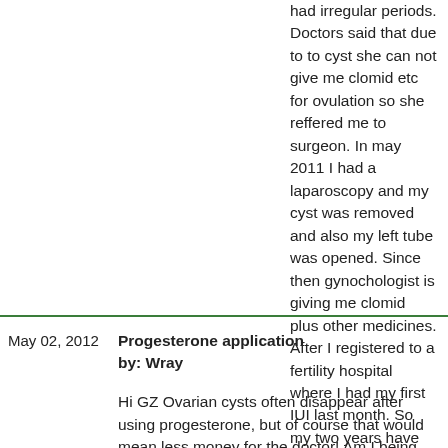had irregular periods. Doctors said that due to to cyst she can not give me clomid etc for ovulation so she reffered me to surgeon. In may 2011 I had a laparoscopy and my cyst was removed and also my left tube was opened. Since then gynochologist is giving me clomid plus other medicines. After I registered to a fertility hospital where I had my first IUI last month. So my two years have been waisted. So dear Wray I read your writings I feel that I should use Progesterone but I dont know how to use it. Is it possible that I ask doctor to give me some progesterone cream. You told me to open capsule and mix it in some natural skin cream. My question is that can i use it during periods or after it; before ovulation or after ovulation. Please guide me in this regard. Tomorrow I will ask doctor to give me Vitamin D test. Thanks a lot dear Wray.
Progesterone application
by: Wray
Hi GZ Ovarian cysts often disappear after using progesterone, but of course that would mean less money for the doctor! Am I being